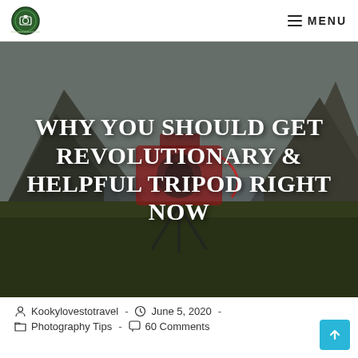Kookylovestotravel — MENU
[Figure (photo): A red DSLR camera on a tripod with a scenic mountain and lake landscape in the background, used as hero image behind article title text.]
WHY YOU SHOULD GET REVOLUTIONARY & HELPFUL TRIPOD RIGHT NOW
Kookylovestotravel  -  June 5, 2020  -  Photography Tips  -  60 Comments